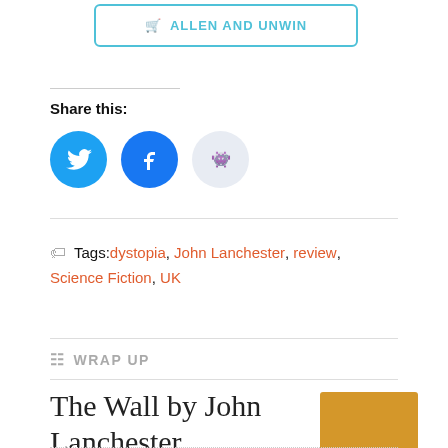🛒 ALLEN AND UNWIN
Share this:
[Figure (illustration): Three social media share buttons: Twitter (blue circle with bird icon), Facebook (blue circle with f icon), Reddit (light blue circle with alien mascot icon)]
Tags: dystopia, John Lanchester, review, Science Fiction, UK
WRAP UP
The Wall by John Lanchester
[Figure (illustration): Orange/golden rectangle representing the book cover thumbnail]